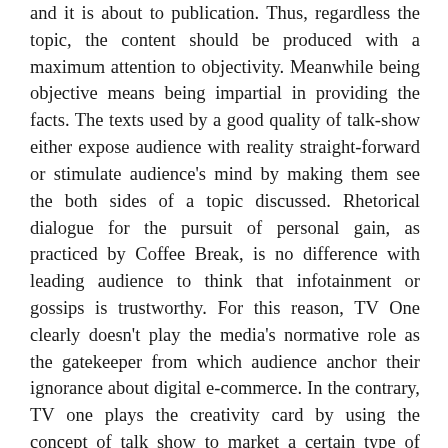and it is about to publication. Thus, regardless the topic, the content should be produced with a maximum attention to objectivity. Meanwhile being objective means being impartial in providing the facts. The texts used by a good quality of talk-show either expose audience with reality straight-forward or stimulate audience's mind by making them see the both sides of a topic discussed. Rhetorical dialogue for the pursuit of personal gain, as practiced by Coffee Break, is no difference with leading audience to think that infotainment or gossips is trustworthy. For this reason, TV One clearly doesn't play the media's normative role as the gatekeeper from which audience anchor their ignorance about digital e-commerce. In the contrary, TV one plays the creativity card by using the concept of talk show to market a certain type of economic goods wherein all information communicated leads Indonesian audience nowhere other than to become a mere commodity, the robotic entity who simply receiving information without ability to analyse the pros and cons of a message.